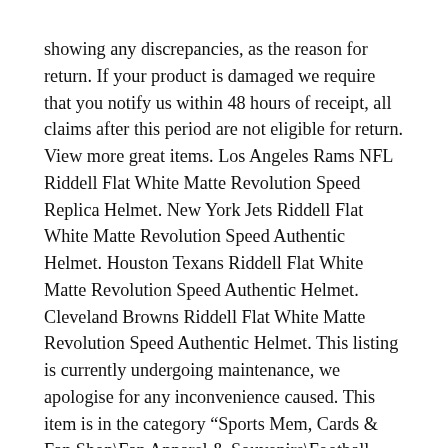showing any discrepancies, as the reason for return. If your product is damaged we require that you notify us within 48 hours of receipt, all claims after this period are not eligible for return. View more great items. Los Angeles Rams NFL Riddell Flat White Matte Revolution Speed Replica Helmet. New York Jets Riddell Flat White Matte Revolution Speed Authentic Helmet. Houston Texans Riddell Flat White Matte Revolution Speed Authentic Helmet. Cleveland Browns Riddell Flat White Matte Revolution Speed Authentic Helmet. This listing is currently undergoing maintenance, we apologise for any inconvenience caused. This item is in the category “Sports Mem, Cards & Fan Shop\Fan Apparel & Souvenirs\Football-NFL”. The seller is “gamedaylegends” and is located in this country: US. This item can be shipped to United States, Canada, United Kingdom, Denmark, Romania, Slovakia, Bulgaria, Czech Republic, Finland, Hungary, Latvia, Lithuania, Malta, Estonia, Australia, Greece, Portugal, Cyprus, Slovenia, Japan, China, Sweden, Korea, South, Indonesia, Taiwan, South Africa, Thailand, Belgium, France, Hong Kong,